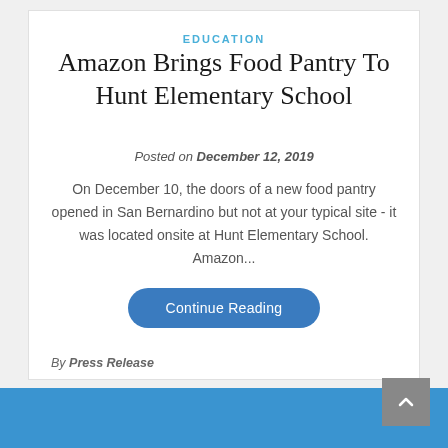EDUCATION
Amazon Brings Food Pantry To Hunt Elementary School
Posted on December 12, 2019
On December 10, the doors of a new food pantry opened in San Bernardino but not at your typical site - it was located onsite at Hunt Elementary School. Amazon...
Continue Reading
By Press Release